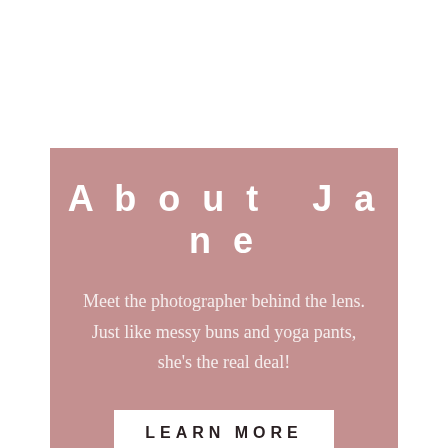About Jane
Meet the photographer behind the lens. Just like messy buns and yoga pants, she's the real deal!
LEARN MORE